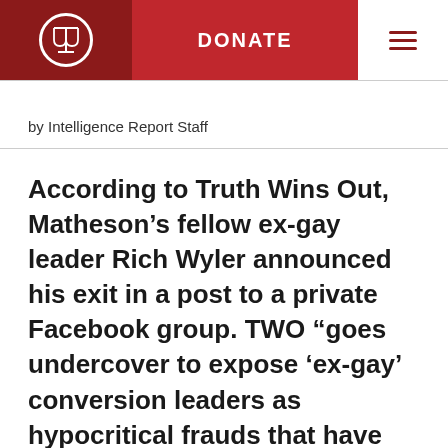DONATE
by Intelligence Report Staff
According to Truth Wins Out, Matheson’s fellow ex-gay leader Rich Wyler announced his exit in a post to a private Facebook group. TWO “goes undercover to expose ‘ex-gay’ conversion leaders as hypocritical frauds that have not actually changed their sexual orientation,” its website states.